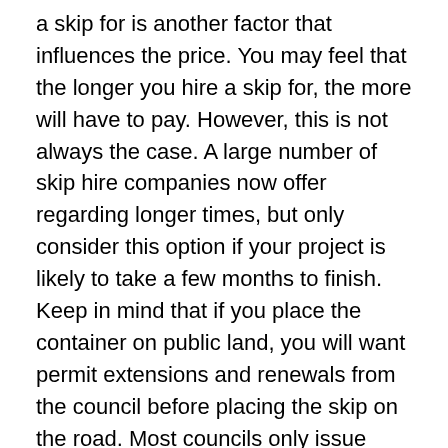a skip for is another factor that influences the price. You may feel that the longer you hire a skip for, the more will have to pay. However, this is not always the case. A large number of skip hire companies now offer regarding longer times, but only consider this option if your project is likely to take a few months to finish. Keep in mind that if you place the container on public land, you will want permit extensions and renewals from the council before placing the skip on the road. Most councils only issue permits that are valid for a fortnight to at 31 days.
Permits
Depending on which skip hire